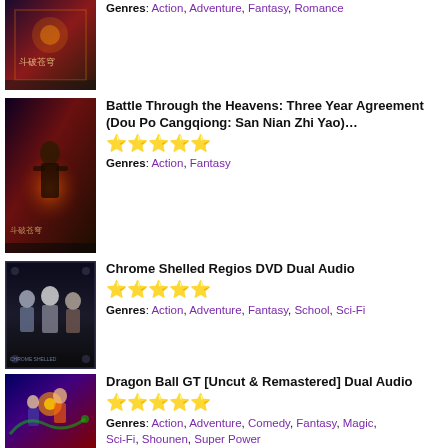[Figure (photo): Partial cover image of a Chinese fantasy title showing dramatic scene with Chinese text]
Genres: Action, Adventure, Fantasy, Romance
[Figure (photo): Cover art for Battle Through the Heavens: Three Year Agreement (Dou Po Cangqiong: San Nian Zhi Yao) showing a dramatic fantasy scene]
Battle Through the Heavens: Three Year Agreement (Dou Po Cangqiong: San Nian Zhi Yao)…
★★★★★
Genres: Action, Fantasy
[Figure (photo): Cover art for Chrome Shelled Regios DVD Dual Audio showing anime characters]
Chrome Shelled Regios DVD Dual Audio
★★★★★
Genres: Action, Adventure, Fantasy, School, Sci-Fi
[Figure (photo): Cover art for Dragon Ball GT [Uncut & Remastered] Dual Audio showing anime characters]
Dragon Ball GT [Uncut & Remastered] Dual Audio
★★★★★
Genres: Action, Adventure, Comedy, Fantasy, Magic, Sci-Fi, Shounen, Super Power